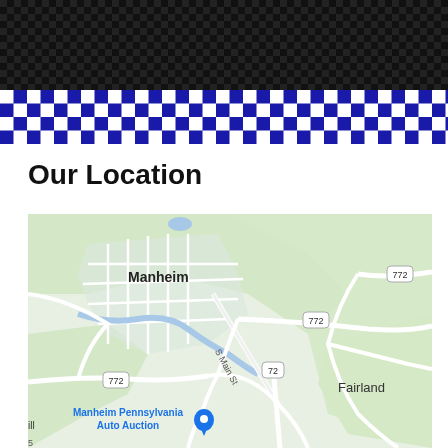[Figure (other): Black header band with dark checkered/grid texture pattern]
[Figure (other): Blue and white checkerboard stripe pattern divider]
Our Location
[Figure (map): Google Maps view showing Manheim, Pennsylvania area with roads including S Main St, Route 772, Route 72, and labels for Manheim, Fairland, and Manheim Pennsylvania Auto Auction]